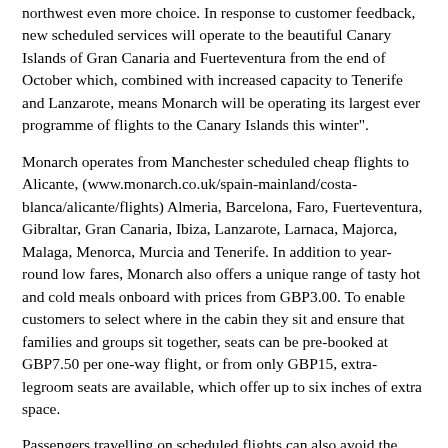northwest even more choice. In response to customer feedback, new scheduled services will operate to the beautiful Canary Islands of Gran Canaria and Fuerteventura from the end of October which, combined with increased capacity to Tenerife and Lanzarote, means Monarch will be operating its largest ever programme of flights to the Canary Islands this winter".
Monarch operates from Manchester scheduled cheap flights to Alicante, (www.monarch.co.uk/spain-mainland/costa-blanca/alicante/flights) Almeria, Barcelona, Faro, Fuerteventura, Gibraltar, Gran Canaria, Ibiza, Lanzarote, Larnaca, Majorca, Malaga, Menorca, Murcia and Tenerife. In addition to year-round low fares, Monarch also offers a unique range of tasty hot and cold meals onboard with prices from GBP3.00. To enable customers to select where in the cabin they sit and ensure that families and groups sit together, seats can be pre-booked at GBP7.50 per one-way flight, or from only GBP15, extra-legroom seats are available, which offer up to six inches of extra space.
Passengers travelling on scheduled flights can also avoid the queues at the airport and take advantage of online check-in which is available between seven days and 4.5 hours prior to departure.
In addition to cheap flights, Monarch also now offers a huge range of great value holidays, (www.monarch.co.uk/holidays) accommodation options, car hire and travel insurance.